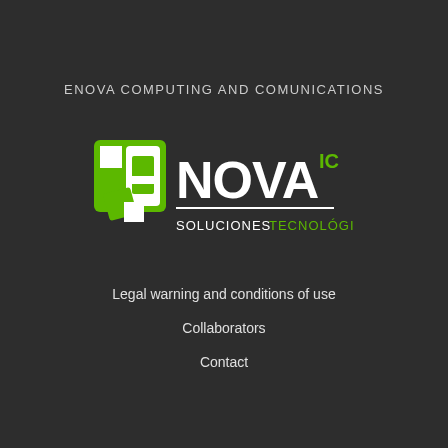ENOVA COMPUTING AND COMUNICATIONS
[Figure (logo): eNOVA IC Soluciones Tecnológicas logo — green and white squares/rectangles forming stylized 'e', with text 'eNOVA IC' in white/green and 'SOLUCIONES TECNOLÓGICAS' in white and green below]
Legal warning and conditions of use
Collaborators
Contact